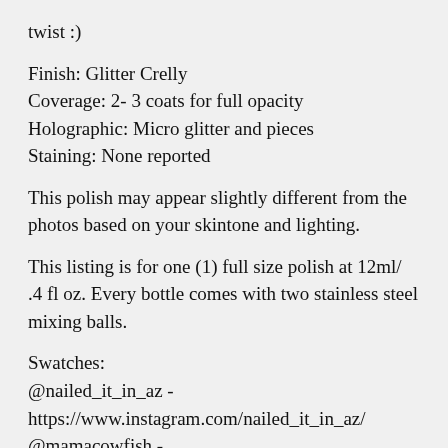twist :)
Finish: Glitter Crelly
Coverage: 2- 3 coats for full opacity
Holographic: Micro glitter and pieces
Staining: None reported
This polish may appear slightly different from the photos based on your skintone and lighting.
This listing is for one (1) full size polish at 12ml/ .4 fl oz. Every bottle comes with two stainless steel mixing balls.
Swatches:
@nailed_it_in_az -
https://www.instagram.com/nailed_it_in_az/
@mamacowfish -
https://www.instagram.com/mamacowfish/